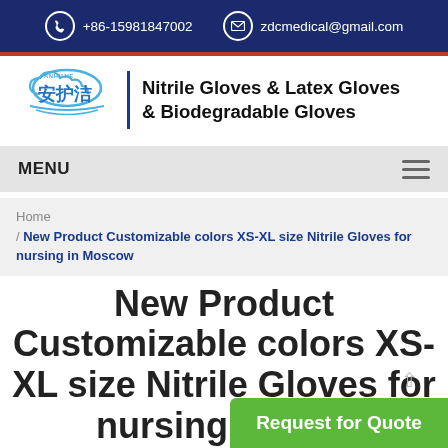+86-15981847002  zdcmedical@gmail.com
[Figure (logo): Anhujie brand logo with Chinese characters and cloud design]
Nitrile Gloves & Latex Gloves & Biodegradable Gloves
MENU
Home / New Product Customizable colors XS-XL size Nitrile Gloves for nursing in Moscow
New Product Customizable colors XS-XL size Nitrile Gloves for nursing in Moscow
Request for Quote